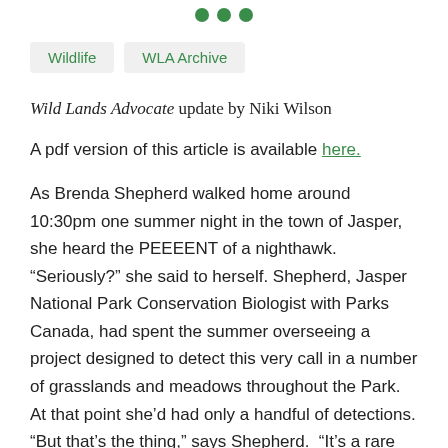[Figure (other): Three green dots decorative separator]
Wildlife
WLA Archive
Wild Lands Advocate update by Niki Wilson
A pdf version of this article is available here.
As Brenda Shepherd walked home around 10:30pm one summer night in the town of Jasper, she heard the PEEEENT of a nighthawk. “Seriously?” she said to herself. Shepherd, Jasper National Park Conservation Biologist with Parks Canada, had spent the summer overseeing a project designed to detect this very call in a number of grasslands and meadows throughout the Park.  At that point she’d had only a handful of detections. “But that’s the thing,” says Shepherd.  “It’s a rare bird that people can